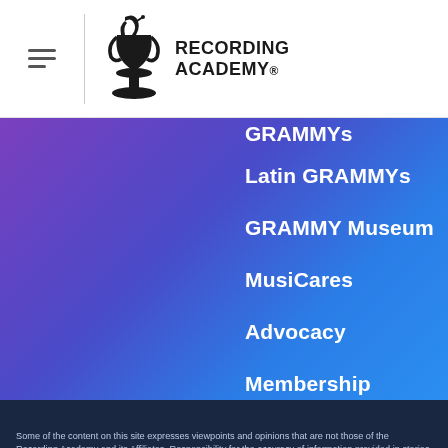[Figure (logo): Recording Academy logo with gramophone trophy icon and text RECORDING ACADEMY]
GRAMMYs
Latin GRAMMYs
GRAMMY Museum
MusiCares
Advocacy
Membership
Terms of Service   Privacy Policy   Cookie Policy   Copyright Notice   Contact Us
© 2022 - Recording Academy. All rights reserved.
Some of the content on this site expresses viewpoints and opinions that are not those of the Recording Academy and its Affiliates. Responsibility for the accuracy of information provided in stories not written by or specifically prepared for the